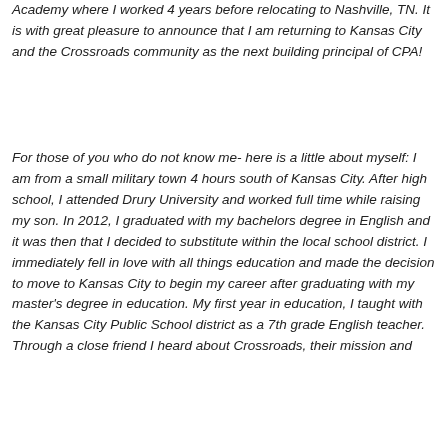Academy where I worked 4 years before relocating to Nashville, TN. It is with great pleasure to announce that I am returning to Kansas City and the Crossroads community as the next building principal of CPA!
For those of you who do not know me- here is a little about myself: I am from a small military town 4 hours south of Kansas City. After high school, I attended Drury University and worked full time while raising my son. In 2012, I graduated with my bachelors degree in English and it was then that I decided to substitute within the local school district. I immediately fell in love with all things education and made the decision to move to Kansas City to begin my career after graduating with my master's degree in education. My first year in education, I taught with the Kansas City Public School district as a 7th grade English teacher. Through a close friend I heard about Crossroads, their mission and community...